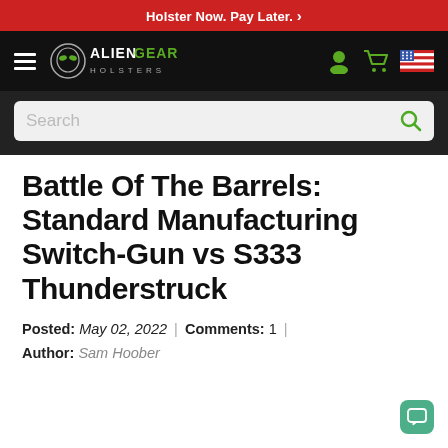Holster Now. Pay Later. >
[Figure (logo): Alien Gear Holsters logo with alien head graphic and navigation icons (hamburger menu, user, cart, US flag)]
[Figure (screenshot): Search bar with placeholder text 'Search' and green magnifying glass icon]
Battle Of The Barrels: Standard Manufacturing Switch-Gun vs S333 Thunderstruck
Posted: May 02, 2022 | Comments: 1 | Author: Sam Hoober